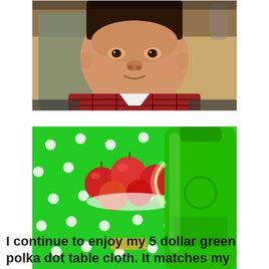[Figure (photo): Close-up photo of a young baby/toddler wearing a red plaid jacket, looking at the camera. Background shows a high chair and light-colored wall.]
[Figure (photo): Photo of a green polka dot tablecloth with red apples on a plate, salt and pepper shakers on a wooden tray, and a large green water bottle in the foreground.]
I continue to enjoy my 5 dollar green polka dot table cloth. It matches my